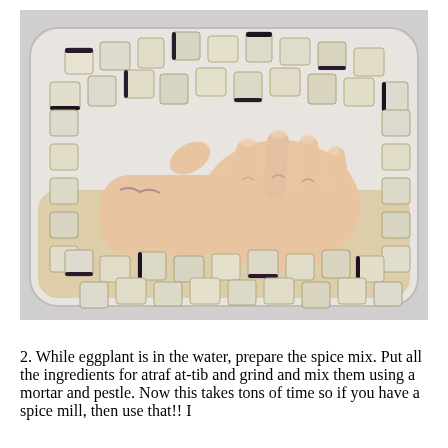[Figure (photo): Overhead view of a hand pressing down on cubed eggplant pieces in a large clear plastic container, likely in water. The eggplant pieces show white flesh with dark purple skin edges.]
2. While eggplant is in the water, prepare the spice mix. Put all the ingredients for atraf at-tib and grind and mix them using a mortar and pestle. Now this takes tons of time so if you have a spice mill, then use that!! I